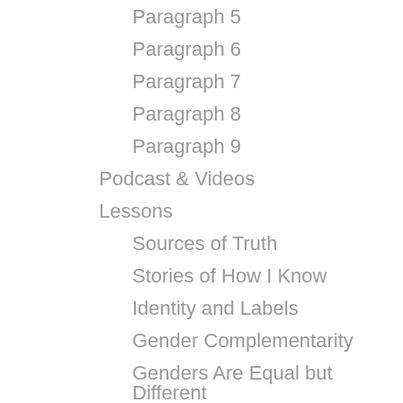Paragraph 5
Paragraph 6
Paragraph 7
Paragraph 8
Paragraph 9
Podcast & Videos
Lessons
Sources of Truth
Stories of How I Know
Identity and Labels
Gender Complementarity
Genders Are Equal but Different
Blog
Printables
About